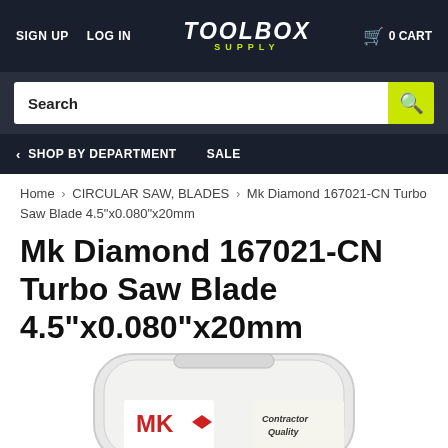SIGN UP  LOG IN  TOOLBOX SUPPLY  0 CART
Search
SHOP BY DEPARTMENT  SALE
Home › CIRCULAR SAW, BLADES › Mk Diamond 167021-CN Turbo Saw Blade 4.5"x0.080"x20mm
Mk Diamond 167021-CN Turbo Saw Blade 4.5"x0.080"x20mm
[Figure (photo): Product photo of Mk Diamond 167021-CN Turbo Saw Blade in clear plastic packaging, showing MK logo in red and 'Contractor Quality' text]